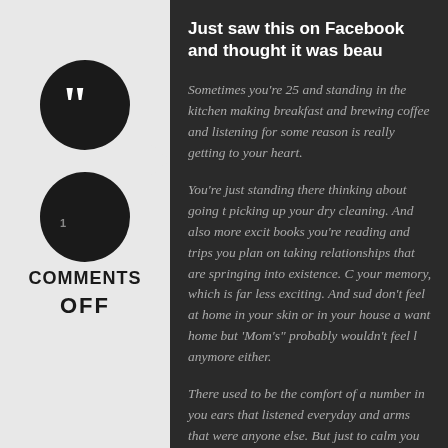[Figure (other): Quote mark icon in black circle with right-pointing arrow]
COMMENTS
OFF
Just saw this on Facebook and thought it was beau
Sometimes you're 25 and standing in the kitchen making breakfast and brewing coffee and listening for some reason is really getting to your heart.
You're just standing there thinking about going t picking up your dry cleaning. And also more excit books you're reading and trips you plan on taking relationships that are springing into existence. C your memory, which is far less exciting. And sud don't feel at home in your skin or in your house a want home but 'Mom's" probably wouldn't feel l anymore either.
There used to be the comfort of a number in you ears that listened everyday and arms that were anyone else. But just to calm you down when yo feeling trapped in a five-minute period where no much and thoughts of this person or a fear of f